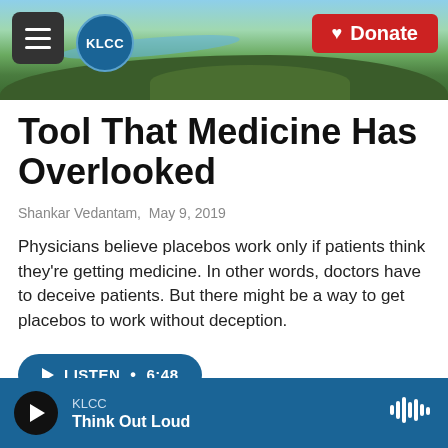[Figure (photo): Aerial landscape photo with river and forested hills, KLCC public radio website header]
Tool That Medicine Has Overlooked
Shankar Vedantam,  May 9, 2019
Physicians believe placebos work only if patients think they're getting medicine. In other words, doctors have to deceive patients. But there might be a way to get placebos to work without deception.
LISTEN • 6:48
Load More
KLCC Think Out Loud